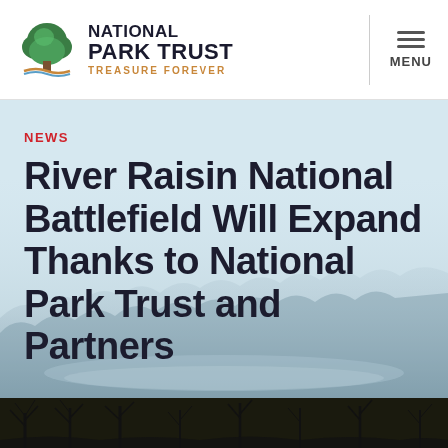National Park Trust — Treasure Forever | MENU
NEWS
River Raisin National Battlefield Will Expand Thanks to National Park Trust and Partners
[Figure (photo): Misty winter landscape with snow-covered trees and frozen water in the background, with dark silhouetted bare trees at the bottom foreground]